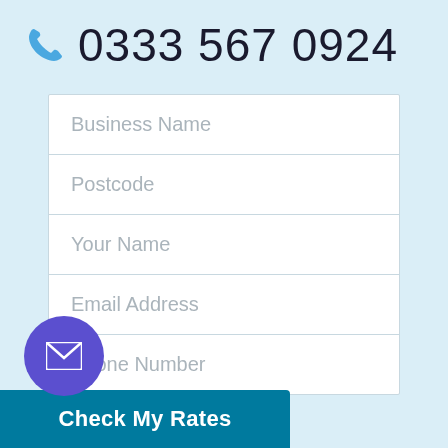0333 567 0924
Business Name
Postcode
Your Name
Email Address
Phone Number
Check My Rates